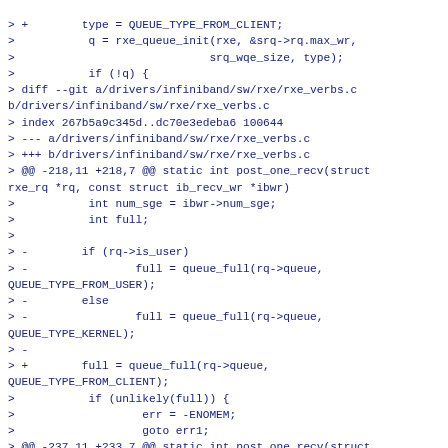> +        type = QUEUE_TYPE_FROM_CLIENT;
>           q = rxe_queue_init(rxe, &srq->rq.max_wr,
>                             srq_wqe_size, type);
>           if (!q) {
> diff --git a/drivers/infiniband/sw/rxe/rxe_verbs.c b/drivers/infiniband/sw/rxe/rxe_verbs.c
> index 267b5a9c345d..dc70e3edeba6 100644
> --- a/drivers/infiniband/sw/rxe/rxe_verbs.c
> +++ b/drivers/infiniband/sw/rxe/rxe_verbs.c
> @@ -218,11 +218,7 @@ static int post_one_recv(struct rxe_rq *rq, const struct ib_recv_wr *ibwr)
>           int num_sge = ibwr->num_sge;
>           int full;
> 
> -        if (rq->is_user)
> -                full = queue_full(rq->queue, QUEUE_TYPE_FROM_USER);
> -        else
> -                full = queue_full(rq->queue, QUEUE_TYPE_KERNEL);
> - 
> +        full = queue_full(rq->queue, QUEUE_TYPE_FROM_CLIENT);
>           if (unlikely(full)) {
>                   err = -ENOMEM;
>                   goto err1;
> @@ -237,11 +233,7 @@ static int post_one_recv(struct rxe_rq *rq, const struct ib_recv_wr *ibwr)
>           for (i = 0; i < num_sge; i++)
>                   length += ibwr->sg_list[i].length;